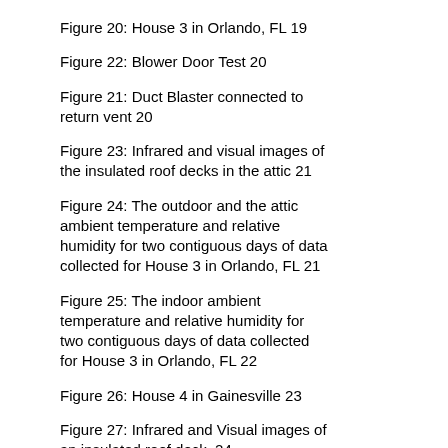Figure 20: House 3 in Orlando, FL 19
Figure 22: Blower Door Test 20
Figure 21: Duct Blaster connected to return vent 20
Figure 23: Infrared and visual images of the insulated roof decks in the attic 21
Figure 24: The outdoor and the attic ambient temperature and relative humidity for two contiguous days of data collected for House 3 in Orlando, FL 21
Figure 25: The indoor ambient temperature and relative humidity for two contiguous days of data collected for House 3 in Orlando, FL 22
Figure 26: House 4 in Gainesville 23
Figure 27: Infrared and Visual images of an insulated roof deck. 24